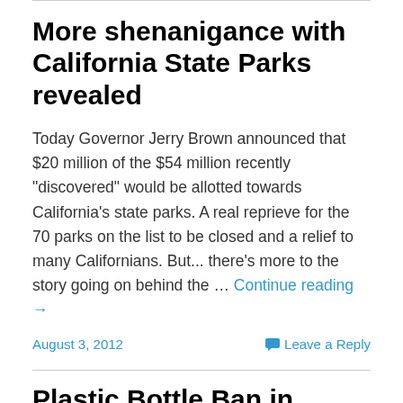More shenanigance with California State Parks revealed
Today Governor Jerry Brown announced that $20 million of the $54 million recently "discovered" would be allotted towards California's state parks. A real reprieve for the 70 parks on the list to be closed and a relief to many Californians. But... there's more to the story going on behind the … Continue reading →
August 3, 2012
Leave a Reply
Plastic Bottle Ban in National Parks: Common sense or